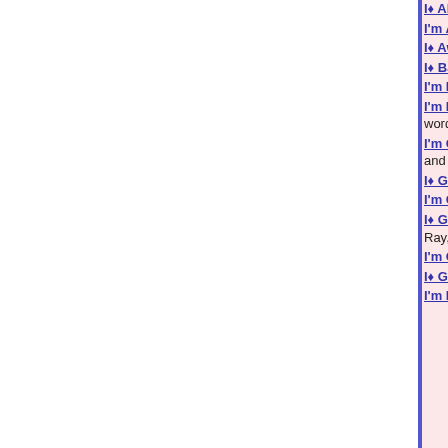I♦ All Man (Songs) I'm All Man was inspired by rumors that he may be gay. It is written in his w
I'm Alright With Jesus (Songs) I'm Alright With words]
I♦ Aware (What People Have To Say) (Songs) song that was inspired by the troubles of form
I♦ Back (Songs) I'm Back was written for Liza music should be reflective of that fact. [153 wo
I'm Better Off Today (Songs) I'm Better Off To Melanie Fiona gave concerning an ex-boyfrien
I'm Blessed (Songs) I'M BLESSD was inspire Brown gave concerning his horrific motorcycle holla! [205 words]
I'm Glad We Can Be Friends Again (Songs) F Adele's revelation that she is friends again wi In The Deep and Someone Like You. It was w
I♦ Goin Out Of My Head (Songs) I'm Going Ou [287 words]
I'm Going Out Of My Head (Songs) I'M GOIN McClester & West, Copyright(c) 2010. All Rig
I♦ Gonna Miss You Brother (Songs) I'm Gonna deaths of my lifelong friend Leroy Bryant and group Ray,Goodman and Brown, formerly kno
I'm Gonna Miss You (Ireally Will) (Songs) - [20
I♦ Gonna Say This Once (Songs) I'M Gonna S of a cheating spouse. [286 words]
I'm Here To Say (You♦e Not Alone) (Poetry) - |